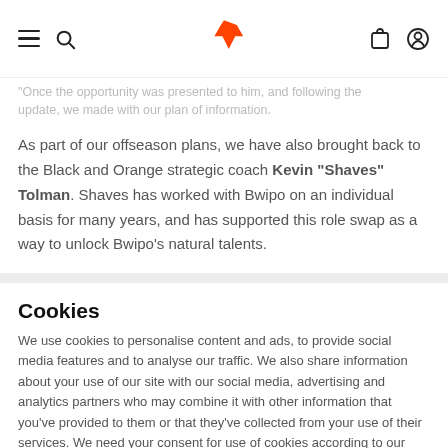[Fnatic navigation bar with hamburger menu, search, Fnatic logo, bag icon, profile icon]
"Once the opportunity was presented to him, and following the update, we made with our plan of information."
As part of our offseason plans, we have also brought back to the Black and Orange strategic coach Kevin "Shaves" Tolman. Shaves has worked with Bwipo on an individual basis for many years, and has supported this role swap as a way to unlock Bwipo's natural talents.
Cookies
We use cookies to personalise content and ads, to provide social media features and to analyse our traffic. We also share information about your use of our site with our social media, advertising and analytics partners who may combine it with other information that you've provided to them or that they've collected from your use of their services. We need your consent for use of cookies according to our privacy policy.
Decline cookies | Accept Cookies